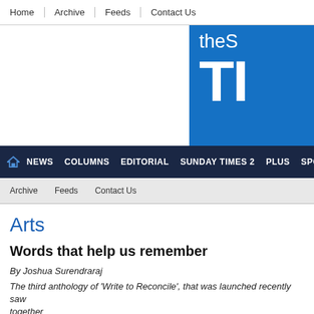Home | Archive | Feeds | Contact Us
[Figure (logo): The Sunday Times newspaper logo — blue background with white text 'the S' and large 'TI' letters visible]
NEWS | COLUMNS | EDITORIAL | SUNDAY TIMES 2 | PLUS | SPORT
Archive   Feeds   Contact Us
Arts
Words that help us remember
By Joshua Surendraraj
The third anthology of 'Write to Reconcile', that was launched recently saw together
View(s):